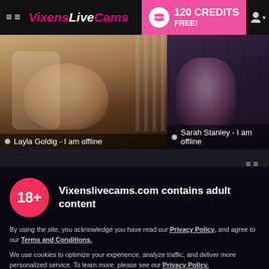VixensLiveCams — 120 CREDITS FREE!
[Figure (screenshot): Two webcam performer thumbnails. Left: 'Layla Goldig - I am offline', woman with red hair holding a coffee cup. Right: 'Sarah Stanley - I am offline', dark-haired woman.]
Vixenslivecams.com contains adult content
By using the site, you acknowledge you have read our Privacy Policy, and agree to our Terms and Conditions.
We use cookies to optimize your experience, analyze traffic, and deliver more personalized service. To learn more, please see our Privacy Policy.
I AGREE